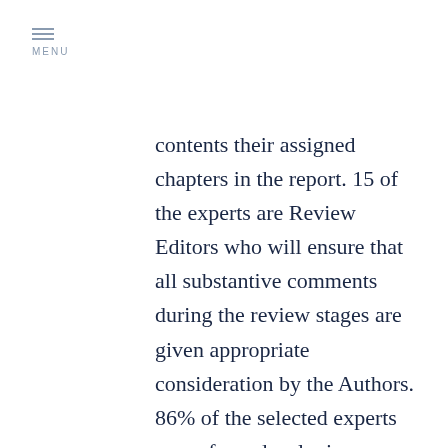MENU
contents their assigned chapters in the report. 15 of the experts are Review Editors who will ensure that all substantive comments during the review stages are given appropriate consideration by the Authors. 86% of the selected experts come from developing countries and countries with economies in transition, and 64% are from developed countries. 74% of the selected are new to the the IPCC process. 81% of them are